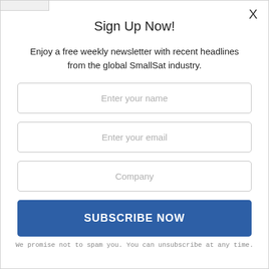Sign Up Now!
Enjoy a free weekly newsletter with recent headlines from the global SmallSat industry.
Enter your name
Enter your email
Company
SUBSCRIBE NOW
We promise not to spam you. You can unsubscribe at any time.